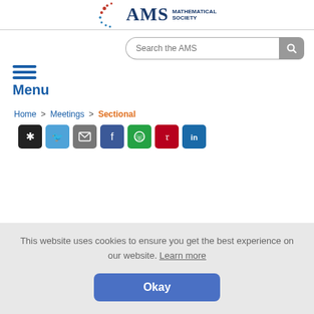AMS MATHEMATICAL SOCIETY
[Figure (screenshot): Search bar with 'Search the AMS' placeholder text and a grey search button]
Menu
Home > Meetings > Sectional
[Figure (infographic): Row of social sharing buttons: star/bookmark (black), Twitter (blue), email (grey), Facebook (dark blue), WhatsApp (green), Pinterest (red), LinkedIn (blue)]
This website uses cookies to ensure you get the best experience on our website. Learn more
Okay